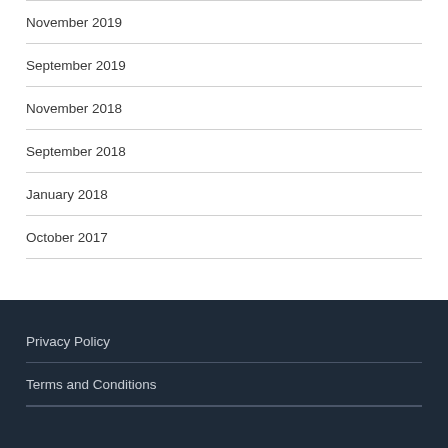November 2019
September 2019
November 2018
September 2018
January 2018
October 2017
Privacy Policy
Terms and Conditions